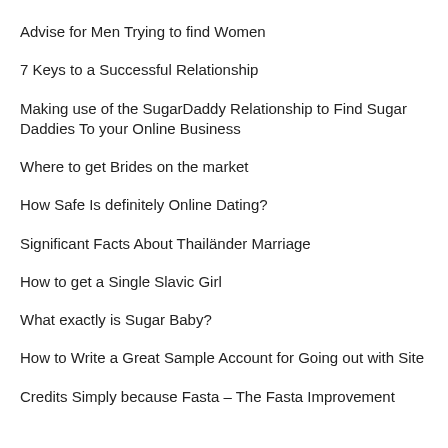Advise for Men Trying to find Women
7 Keys to a Successful Relationship
Making use of the SugarDaddy Relationship to Find Sugar Daddies To your Online Business
Where to get Brides on the market
How Safe Is definitely Online Dating?
Significant Facts About Thailänder Marriage
How to get a Single Slavic Girl
What exactly is Sugar Baby?
How to Write a Great Sample Account for Going out with Site
Credits Simply because Fasta – The Fasta Improvement